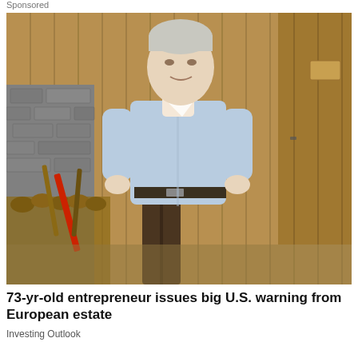Sponsored
[Figure (photo): An older man with gray hair, wearing a light blue long-sleeve dress shirt and dark brown trousers with a belt, standing outdoors in front of a wooden plank wall (barn or shed). To his left are stacked logs and garden tools including a red-handled implement. The setting appears rural or agricultural.]
73-yr-old entrepreneur issues big U.S. warning from European estate
Investing Outlook